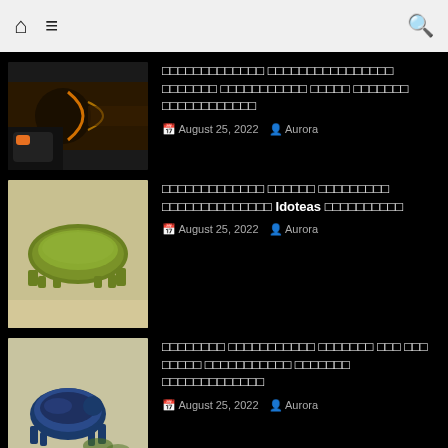Navigation bar with home, menu, and search icons
[Figure (photo): Person using a heat gun on a surface, glowing orange light visible]
□□□□□□□□□□□□□ □□□□□□□□□□□□□□□□ □□□□□□□ □□□□□□□□□□□ □□□□□ □□□□□□□ □□□□□□□□□□□□
August 25, 2022   Aurora
[Figure (photo): Green isopod or pill bug on sand]
□□□□□□□□□□□□□ □□□□□□ □□□□□□□□□ □□□□□□□□□□□□□□ Idoteas □□□□□□□□□□
August 25, 2022   Aurora
[Figure (photo): Blue beetle on sandy ground with green vegetation]
□□□□□□□□ □□□□□□□□□□□ □□□□□□□ □□□ □□□ □□□□□ □□□□□□□□□□□ □□□□□□□ □□□□□□□□□□□□□
August 25, 2022   Aurora
[Figure (photo): Partial image of dark object at bottom of page]
NASA □ □□□□□□□ □□□□□□□□□□□□□ Artemis I □□□□□□□